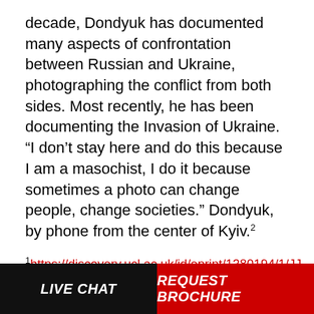decade, Dondyuk has documented many aspects of confrontation between Russian and Ukraine, photographing the conflict from both sides. Most recently, he has been documenting the Invasion of Ukraine. “I don’t stay here and do this because I am a masochist, I do it because sometimes a photo can change people, change societies.” Dondyuk, by phone from the center of Kyiv.²
¹https://discovery.ucl.ac.uk/id/eprint/1380194/1/JJ Gurga - Thesis - Final version.pdf
² https://time.com/6158001/ukraine-invasion-in-photos-kyiv-russia
Learn more about our programs.
LIVE CHAT | REQUEST BROCHURE